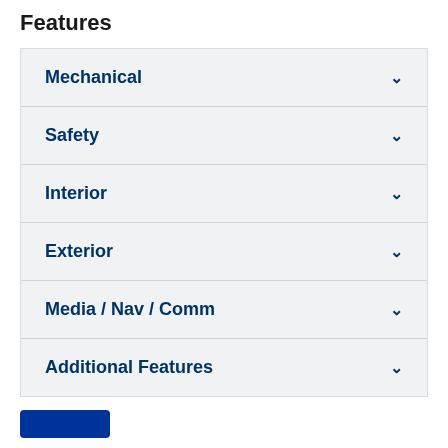Features
Mechanical
Safety
Interior
Exterior
Media / Nav / Comm
Additional Features